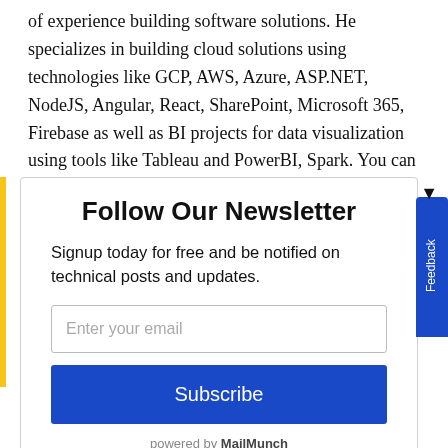of experience building software solutions. He specializes in building cloud solutions using technologies like GCP, AWS, Azure, ASP.NET, NodeJS, Angular, React, SharePoint, Microsoft 365, Firebase as well as BI projects for data visualization using tools like Tableau and PowerBI, Spark. You can follow Oscar on Twitter @ozkary or his blog at ozkary.com VP of Product Development 5
Follow Our Newsletter
Signup today for free and be notified on technical posts and updates.
Subscribe
powered by MailMunch